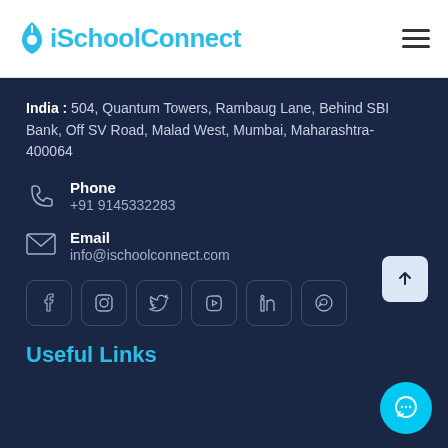iSchoolConnect
India : 504, Quantum Towers, Rambaug Lane, Behind SBI Bank, Off SV Road, Malad West, Mumbai, Maharashtra- 400064
Phone
+91 9145332283
Email
info@ischoolconnect.com
[Figure (infographic): Social media icon buttons: Facebook, Instagram, Twitter, YouTube, LinkedIn, WhatsApp in rounded square borders on dark navy background]
Useful Links